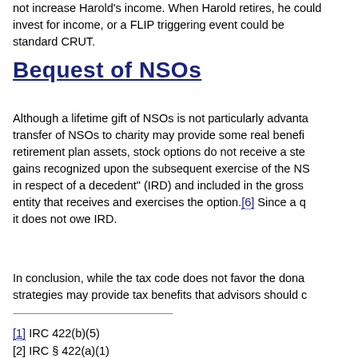not increase Harold's income. When Harold retires, he could invest for income, or a FLIP triggering event could be standard CRUT.
Bequest of NSOs
Although a lifetime gift of NSOs is not particularly advantageous, a transfer of NSOs to charity may provide some real benefits. Like retirement plan assets, stock options do not receive a step-up; gains recognized upon the subsequent exercise of the NSOs constitute "income in respect of a decedent" (IRD) and included in the gross income of the entity that receives and exercises the option.[6] Since a qualified charity it does not owe IRD.
In conclusion, while the tax code does not favor the donation, certain strategies may provide tax benefits that advisors should consider.
[1] IRC 422(b)(5)
[2] IRC § 422(a)(1)